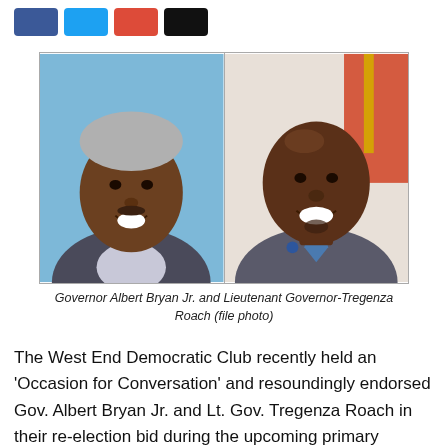[Figure (other): Social media share buttons: Facebook (blue), Twitter (cyan), Google Plus (red), Email (black)]
[Figure (photo): Two portrait photos side by side: Governor Albert Bryan Jr. (left, grey hair, suit) and Lieutenant Governor Tregenza Roach (right, bald, suit with blue tie, flag in background)]
Governor Albert Bryan Jr. and Lieutenant Governor-Tregenza Roach (file photo)
The West End Democratic Club recently held an 'Occasion for Conversation' and resoundingly endorsed Gov. Albert Bryan Jr. and Lt. Gov. Tregenza Roach in their re-election bid during the upcoming primary election. The club's president, Ophelia "Nemmy" Williams-Jackson, welcomed the guests along the cabin, the con state and historical at the City